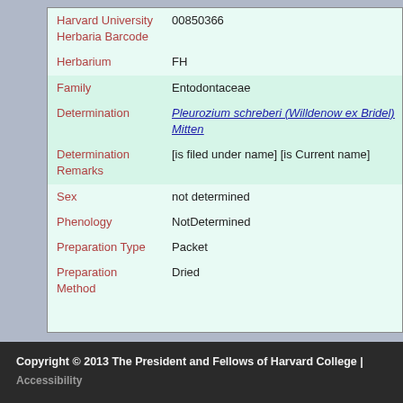| Field | Value |
| --- | --- |
| Harvard University Herbaria Barcode | 00850366 |
| Herbarium | FH |
| Family | Entodontaceae |
| Determination | Pleurozium schreberi (Willdenow ex Bridel) Mitten |
| Determination Remarks | [is filed under name] [is Current name] |
| Sex | not determined |
| Phenology | NotDetermined |
| Preparation Type | Packet |
| Preparation Method | Dried |
Copyright © 2013 The President and Fellows of Harvard College | Accessibility